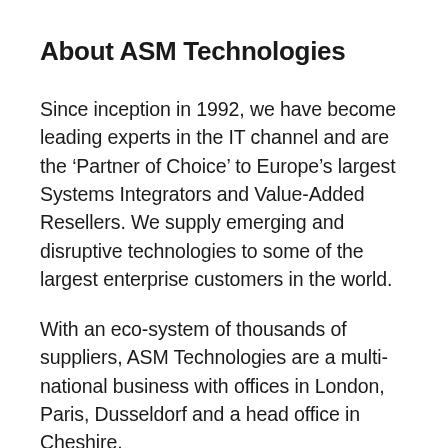About ASM Technologies
Since inception in 1992, we have become leading experts in the IT channel and are the ‘Partner of Choice’ to Europe’s largest Systems Integrators and Value-Added Resellers. We supply emerging and disruptive technologies to some of the largest enterprise customers in the world.
With an eco-system of thousands of suppliers, ASM Technologies are a multi-national business with offices in London, Paris, Dusseldorf and a head office in Cheshire.